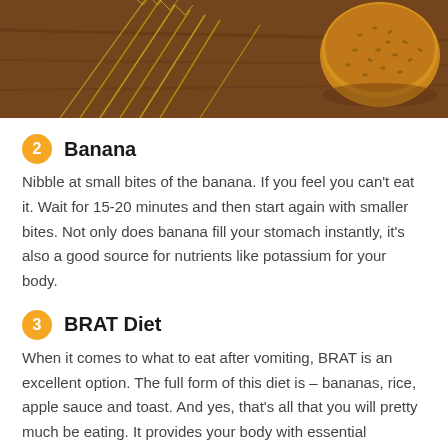[Figure (photo): Photo of wheat stalks and a seeded bread roll on a wooden surface, warm brown tones]
2 Banana
Nibble at small bites of the banana. If you feel you can't eat it. Wait for 15-20 minutes and then start again with smaller bites. Not only does banana fill your stomach instantly, it's also a good source for nutrients like potassium for your body.
3 BRAT Diet
When it comes to what to eat after vomiting, BRAT is an excellent option. The full form of this diet is – bananas, rice, apple sauce and toast. And yes, that's all that you will pretty much be eating. It provides your body with essential nutrients as well as enough energy for your